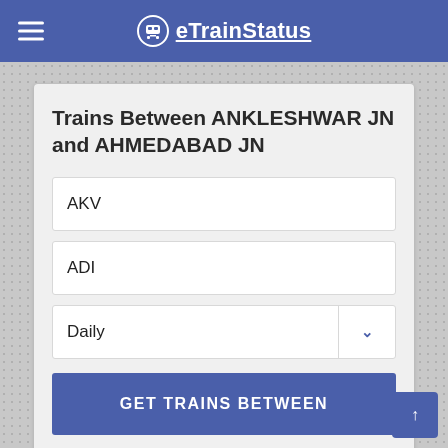eTrainStatus
Trains Between ANKLESHWAR JN and AHMEDABAD JN
AKV
ADI
Daily
GET TRAINS BETWEEN